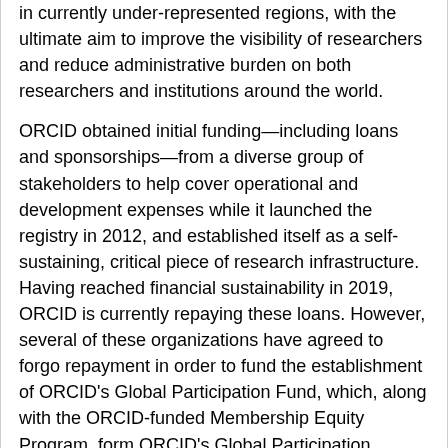in currently under-represented regions, with the ultimate aim to improve the visibility of researchers and reduce administrative burden on both researchers and institutions around the world.
ORCID obtained initial funding—including loans and sponsorships—from a diverse group of stakeholders to help cover operational and development expenses while it launched the registry in 2012, and established itself as a self-sustaining, critical piece of research infrastructure. Having reached financial sustainability in 2019, ORCID is currently repaying these loans. However, several of these organizations have agreed to forgo repayment in order to fund the establishment of ORCID's Global Participation Fund, which, along with the ORCID-funded Membership Equity Program, form ORCID's Global Participation Program (GPP).
Global Participation Fund
The Global Participation Fund (GPF) is a critical step towards realizing ORCID's strategic objective to increase global participation in ORCID by improving equity of participation, and remedying current gaps in organizational participation around the world. The GPF will initially offer two different grant programs: